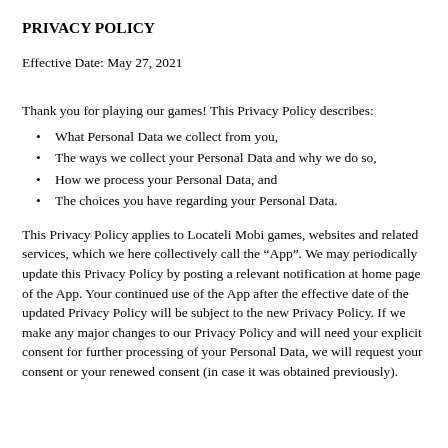PRIVACY POLICY
Effective Date: May 27, 2021
Thank you for playing our games! This Privacy Policy describes:
What Personal Data we collect from you,
The ways we collect your Personal Data and why we do so,
How we process your Personal Data, and
The choices you have regarding your Personal Data.
This Privacy Policy applies to Locateli Mobi games, websites and related services, which we here collectively call the “App”. We may periodically update this Privacy Policy by posting a relevant notification at home page of the App. Your continued use of the App after the effective date of the updated Privacy Policy will be subject to the new Privacy Policy. If we make any major changes to our Privacy Policy and will need your explicit consent for further processing of your Personal Data, we will request your consent or your renewed consent (in case it was obtained previously).